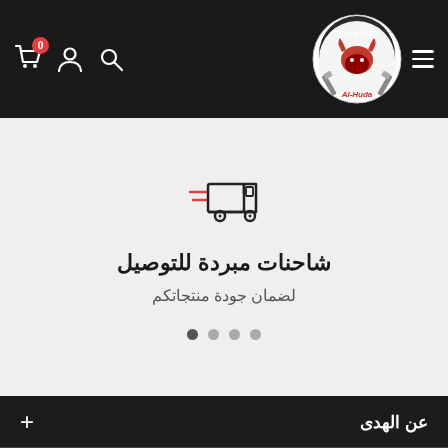[Figure (screenshot): Al-Huda butcher shop logo: circular badge with bull head and crossed cleavers, 'Since 1988' text, red and white on dark background]
شاحنات مبردة للتوصيل
لضمان جودة منتجاتكم
عن الهدى
روابط تهمكم